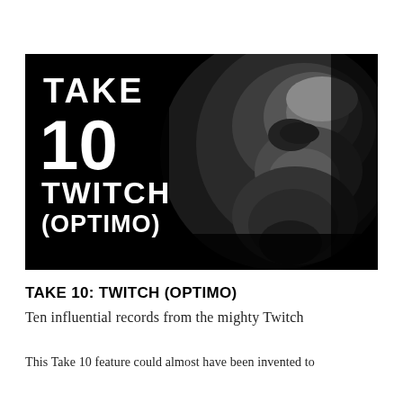[Figure (photo): Black and white close-up portrait of a man's face emerging from dark background, with text overlay reading TAKE 10 TWITCH (OPTIMO) in bold white typography on the left side]
TAKE 10: TWITCH (OPTIMO)
Ten influential records from the mighty Twitch
This Take 10 feature could almost have been invented to